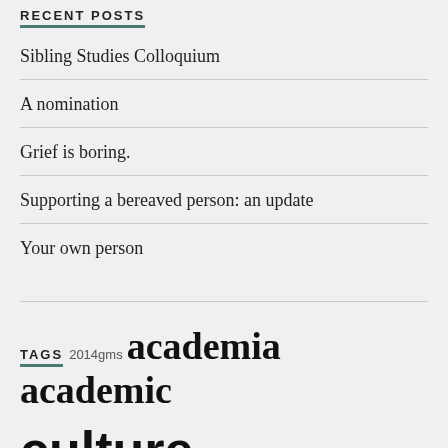RECENT POSTS
Sibling Studies Colloquium
A nomination
Grief is boring.
Supporting a bereaved person: an update
Your own person
TAGS
2014gms academia academic culture accessibility bereavement blogging book-writing cfp childbirth christmas conference coronavirus daughters discussion group domestic violence early career